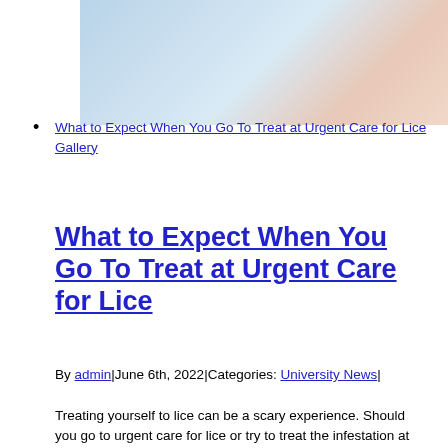[Figure (photo): Abstract background image with soft blue and beige pastel tones, partially visible at the top of the page]
What to Expect When You Go To Treat at Urgent Care for Lice
Gallery
What to Expect When You Go To Treat at Urgent Care for Lice
By admin|June 6th, 2022|Categories: University News|
Treating yourself to lice can be a scary experience. Should you go to urgent care for lice or try to treat the infestation at home? So you